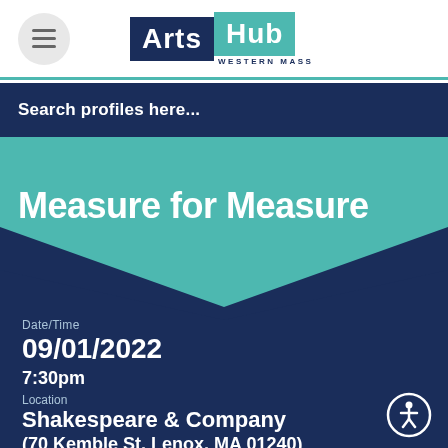[Figure (logo): ArtsHub Western Mass logo — dark navy rectangle with 'Arts' in white bold, teal square with 'Hub' in white bold, and 'WESTERN MASS' in small caps below]
Search profiles here...
Measure for Measure
Date/Time
09/01/2022
7:30pm
Location
Shakespeare & Company
(70 Kemble St, Lenox, MA 01240)